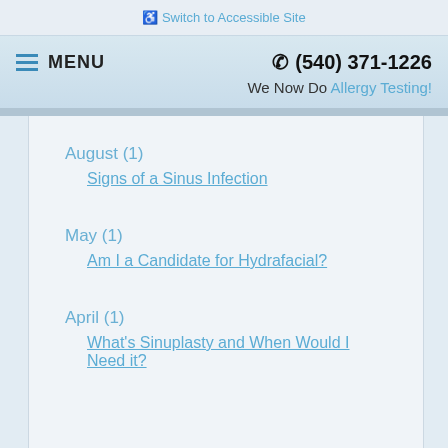♿ Switch to Accessible Site
☰ MENU   ☎ (540) 371-1226
We Now Do Allergy Testing!
August (1)
    Signs of a Sinus Infection
May (1)
    Am I a Candidate for Hydrafacial?
April (1)
    What's Sinuplasty and When Would I Need it?